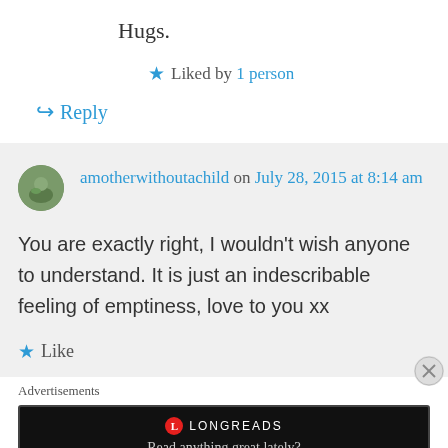Hugs.
★ Liked by 1 person
↪ Reply
amotherwithoutachild on July 28, 2015 at 8:14 am
You are exactly right, I wouldn't wish anyone to understand. It is just an indescribable feeling of emptiness, love to you xx
★ Like
Advertisements
[Figure (other): Longreads ad banner: red circle logo with L, text LONGREADS, tagline 'Read anything great lately?']